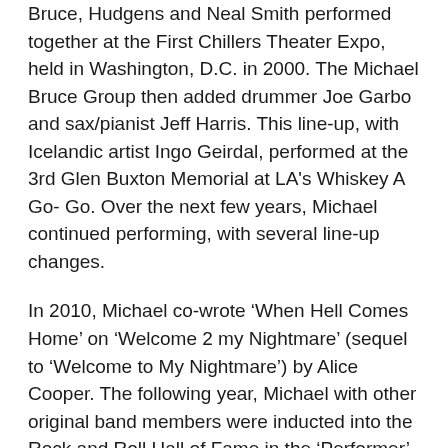Bruce, Hudgens and Neal Smith performed together at the First Chillers Theater Expo, held in Washington, D.C. in 2000. The Michael Bruce Group then added drummer Joe Garbo and sax/pianist Jeff Harris. This line-up, with Icelandic artist Ingo Geirdal, performed at the 3rd Glen Buxton Memorial at LA's Whiskey A Go- Go. Over the next few years, Michael continued performing, with several line-up changes.
In 2010, Michael co-wrote ‘When Hell Comes Home’ on ‘Welcome 2 my Nightmare’ (sequel to ‘Welcome to My Nightmare’) by Alice Cooper. The following year, Michael with other original band members were inducted into the Rock and Roll Hall of Fame in the ‘Performer’ category. Much more recently, Michael also co-wrote ‘Rats’, ‘Genuine American Girl’ and ‘You and All Of Your Friends’ for inclusion into ‘Paranormal’ (Alice Cooper, 2017).
And, of course, fans are still reeling from this year's news